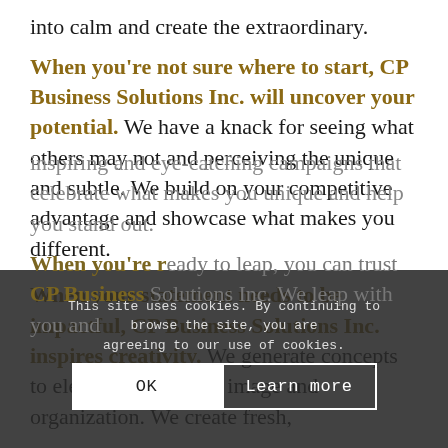into calm and create the extraordinary.
When you're not sure where to start, CP Business Solutions Inc. will uncover your potential. We have a knack for seeing what others may not and perceiving the unique and subtle. We build on your competitive advantage and showcase what makes you different.
When your statement needs to be impactful, CP Business Solutions Inc. inspires creativity. We generate concepts to elevate your brand, image and organization. We create fresh, inspiring and eye-catching campaigns that celebrate what makes you unique and help you stand out.
When you're ready to leap, you can trust CP Business Solutions Inc. We leap with you and
This site uses cookies. By continuing to browse the site, you are agreeing to our use of cookies.